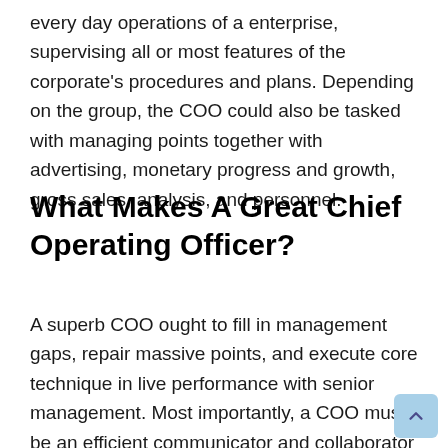every day operations of a enterprise, supervising all or most features of the corporate's procedures and plans. Depending on the group, the COO could also be tasked with managing points together with advertising, monetary progress and growth, gross sales, analysis, and personnel.
What Makes A Great Chief Operating Officer?
A superb COO ought to fill in management gaps, repair massive points, and execute core technique in live performance with senior management. Most importantly, a COO must be an efficient communicator and collaborator with whom folks